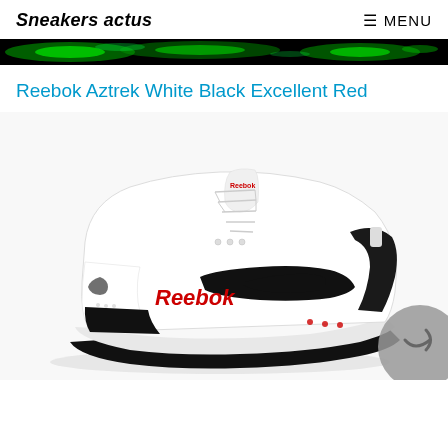Sneakers actus — MENU
[Figure (illustration): Dark banner strip with green glowing light effect on black background]
Reebok Aztrek White Black Excellent Red
[Figure (photo): Reebok Aztrek sneaker in white with black accents and red Reebok logo text on the side, viewed from the side-front angle on a white background]